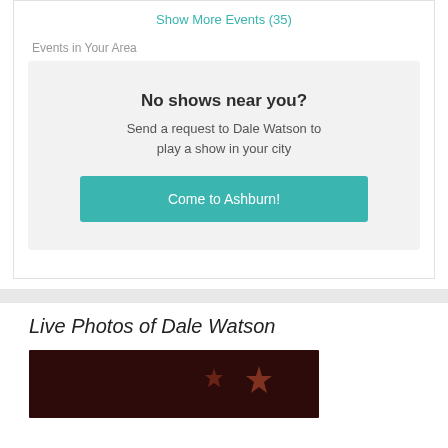Show More Events (35)
Events in Your Area
No shows near you?
Send a request to Dale Watson to play a show in your city
Come to Ashburn!
Live Photos of Dale Watson
[Figure (photo): Dark reddish photo of a live performance with decorative star-shaped lights visible]